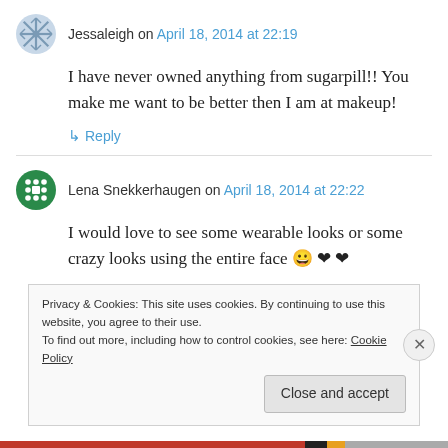Jessaleigh on April 18, 2014 at 22:19
I have never owned anything from sugarpill!! You make me want to be better then I am at makeup!
↳ Reply
Lena Snekkerhaugen on April 18, 2014 at 22:22
I would love to see some wearable looks or some crazy looks using the entire face 😀 ❤ ❤
Privacy & Cookies: This site uses cookies. By continuing to use this website, you agree to their use.
To find out more, including how to control cookies, see here: Cookie Policy
Close and accept